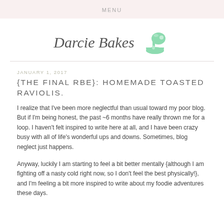MENU
[Figure (logo): Darcie Bakes logo with cursive text and green stand mixer illustration]
JANUARY 1, 2017
{THE FINAL RBE}: HOMEMADE TOASTED RAVIOLIS.
I realize that I've been more neglectful than usual toward my poor blog. But if I'm being honest, the past ~6 months have really thrown me for a loop. I haven't felt inspired to write here at all, and I have been crazy busy with all of life's wonderful ups and downs. Sometimes, blog neglect just happens.
Anyway, luckily I am starting to feel a bit better mentally {although I am fighting off a nasty cold right now, so I don't feel the best physically!}, and I'm feeling a bit more inspired to write about my foodie adventures these days.